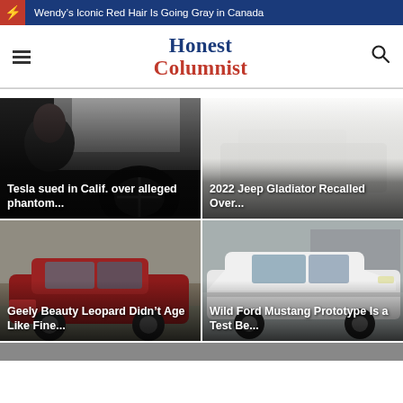⚡ Wendy's Iconic Red Hair Is Going Gray in Canada
Honest Columnist
[Figure (photo): Man driving a Tesla, view from passenger side, dark interior with steering wheel visible — article card for Tesla sued in Calif. over alleged phantom...]
Tesla sued in Calif. over alleged phantom...
[Figure (photo): Jeep Gladiator recall article card — light background with faded image]
2022 Jeep Gladiator Recalled Over...
[Figure (photo): Red Geely Beauty Leopard coupe car parked outdoors — older model with aged paint]
Geely Beauty Leopard Didn't Age Like Fine...
[Figure (photo): White Ford Mustang prototype test bed vehicle — side profile shot in parking area]
Wild Ford Mustang Prototype Is a Test Be...